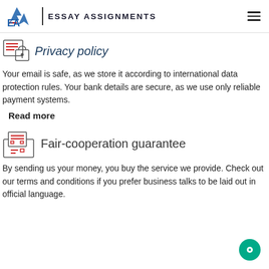EA | ESSAY ASSIGNMENTS
Privacy policy
Your email is safe, as we store it according to international data protection rules. Your bank details are secure, as we use only reliable payment systems.
Read more
Fair-cooperation guarantee
By sending us your money, you buy the service we provide. Check out our terms and conditions if you prefer business talks to be laid out in official language.